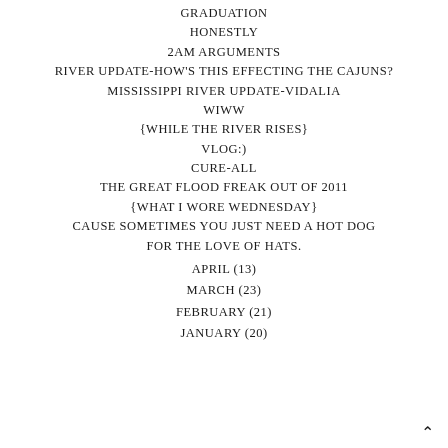GRADUATION
HONESTLY
2AM ARGUMENTS
RIVER UPDATE-HOW'S THIS EFFECTING THE CAJUNS?
MISSISSIPPI RIVER UPDATE-VIDALIA
WIWW
{WHILE THE RIVER RISES}
VLOG:)
CURE-ALL
THE GREAT FLOOD FREAK OUT OF 2011
{WHAT I WORE WEDNESDAY}
CAUSE SOMETIMES YOU JUST NEED A HOT DOG
FOR THE LOVE OF HATS.
APRIL (13)
MARCH (23)
FEBRUARY (21)
JANUARY (20)